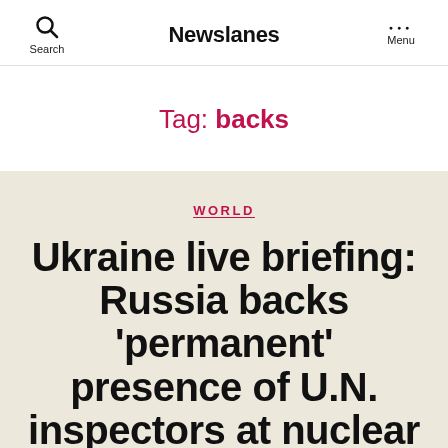Newslanes
Tag: backs
WORLD
Ukraine live briefing: Russia backs 'permanent' presence of U.N. inspectors at nuclear plant